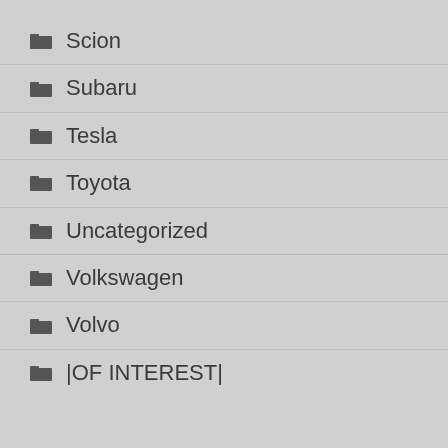Scion
Subaru
Tesla
Toyota
Uncategorized
Volkswagen
Volvo
|OF INTEREST|